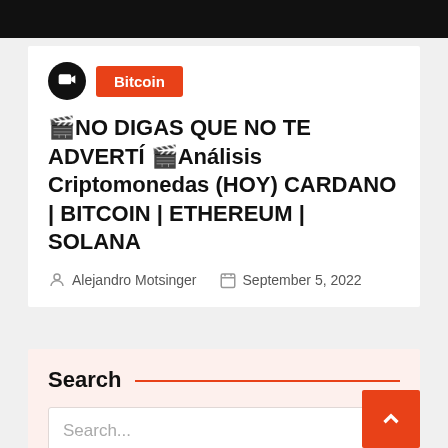Bitcoin
🎬NO DIGAS QUE NO TE ADVERTÍ 🎬Análisis Criptomonedas (HOY) CARDANO | BITCOIN | ETHEREUM | SOLANA
Alejandro Motsinger   September 5, 2022
Search
Search...